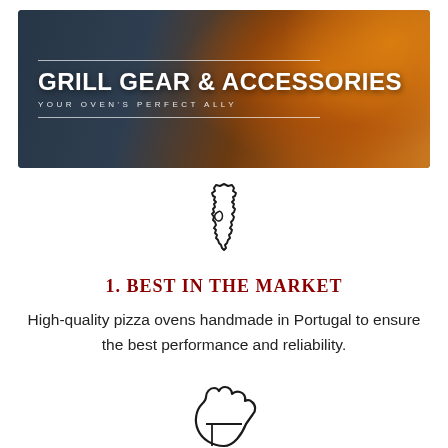GRILL GEAR & ACCESSORIES — YOUR OVEN'S PERFECT ALLY
[Figure (illustration): Outline map of Portugal]
1. BEST IN THE MARKET
High-quality pizza ovens handmade in Portugal to ensure the best performance and reliability.
[Figure (illustration): Oven glove / mitt icon outline]